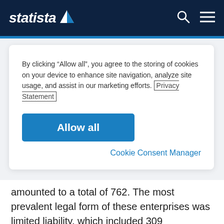statista
By clicking “Allow all”, you agree to the storing of cookies on your device to enhance site navigation, analyze site usage, and assist in our marketing efforts. Privacy Statement
Allow all
Cookie Consent Manager
amounted to a total of 762. The most prevalent legal form of these enterprises was limited liability, which included 309 companies in this sector.
Number of enterprises in the manufacture of rusks and biscuits, manufacture of preserved